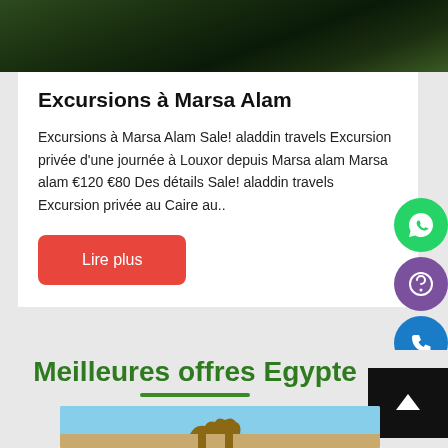[Figure (photo): Dark green grassy/nature background image at top of page]
Excursions à Marsa Alam
Excursions à Marsa Alam Sale! aladdin travels Excursion privée d'une journée à Louxor depuis Marsa alam Marsa alam €120 €80 Des détails Sale! aladdin travels Excursion privée au Caire au..
Lire plus
[Figure (infographic): Three floating action buttons on the right: green WhatsApp button, purple Viber button, blue phone button]
Meilleures offres Egypte
[Figure (photo): Bottom image showing camel against blue sky - partially visible]